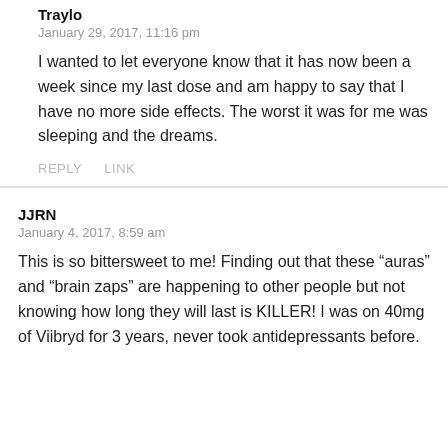Traylo
January 29, 2017, 11:16 pm
I wanted to let everyone know that it has now been a week since my last dose and am happy to say that I have no more side effects. The worst it was for me was sleeping and the dreams.
REPLY   LINK
JJRN
January 4, 2017, 8:59 am
This is so bittersweet to me! Finding out that these “auras” and “brain zaps” are happening to other people but not knowing how long they will last is KILLER! I was on 40mg of Viibryd for 3 years, never took antidepressants before.